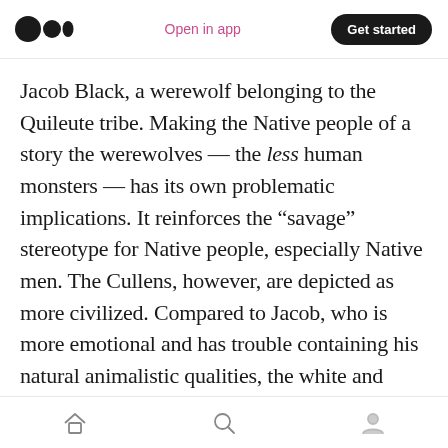Medium app header: logo, Open in app, Get started
Jacob Black, a werewolf belonging to the Quileute tribe. Making the Native people of a story the werewolves — the less human monsters — has its own problematic implications. It reinforces the "savage" stereotype for Native people, especially Native men. The Cullens, however, are depicted as more civilized. Compared to Jacob, who is more emotional and has trouble containing his natural animalistic qualities, the white and sometimes sparkling Edward is a perfect gentleman. Edward is stoic. Edward, for the most part, can remain composed,
Home, Search, Profile navigation icons